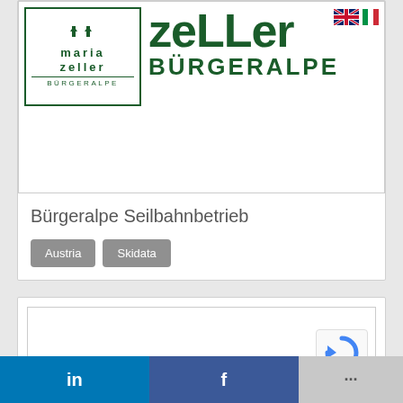[Figure (logo): Maria Zeller Bürgeralpe logo — green box with stylized church towers and text 'maria zeller BÜRGERALPE', next to large green text 'zeLLer BÜRGeRaLpe'. UK and Italian flag icons in top right corner.]
Bürgeralpe Seilbahnbetrieb
Austria
Skidata
[Figure (other): Empty white card area with reCAPTCHA badge partially visible in bottom right corner.]
in   f   ...